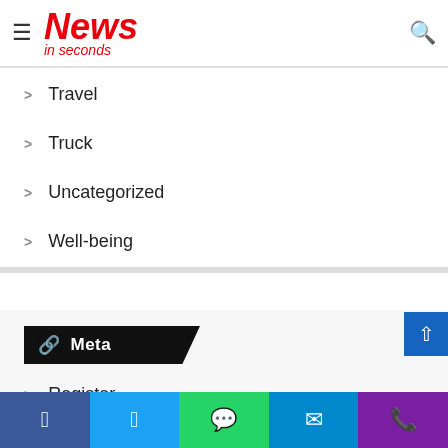News in seconds
Travel
Truck
Uncategorized
Well-being
World
Meta
Register
Log in
Entries feed